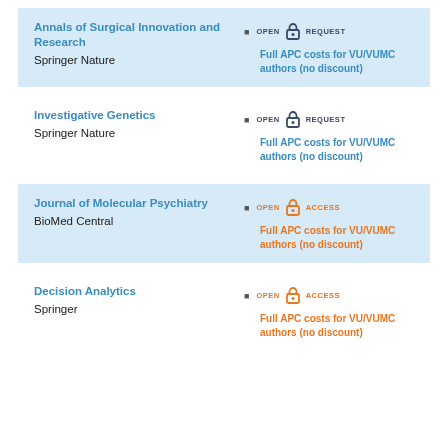Annals of Surgical Innovation and Research
Springer Nature
OPEN REQUEST
Full APC costs for VU/VUMC authors (no discount)
Investigative Genetics
Springer Nature
OPEN REQUEST
Full APC costs for VU/VUMC authors (no discount)
Journal of Molecular Psychiatry
BioMed Central
OPEN ACCESS
Full APC costs for VU/VUMC authors (no discount)
Decision Analytics
Springer
OPEN ACCESS
Full APC costs for VU/VUMC authors (no discount)